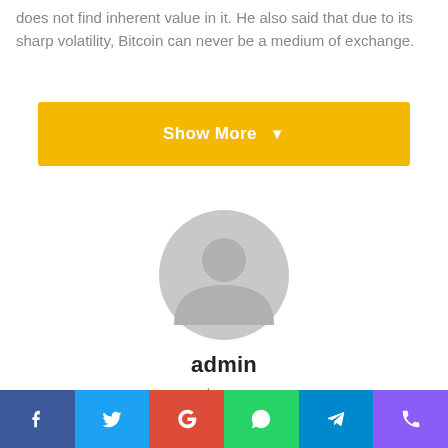does not find inherent value in it. He also said that due to its sharp volatility, Bitcoin can never be a medium of exchange.
[Figure (other): Show More button with yellow background and chevron icon]
[Figure (illustration): Generic user avatar: grey circle with silhouette of head and shoulders]
admin
cryptrace.com
[Figure (other): Social icons: Facebook and Twitter]
Share bar: Facebook, Twitter, Google+, WhatsApp, Telegram, Phone